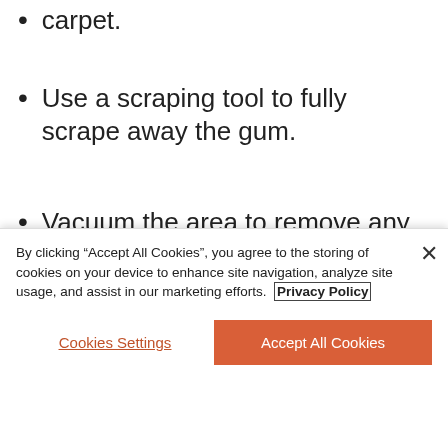carpet.
Use a scraping tool to fully scrape away the gum.
Vacuum the area to remove any loose gum particles.
Sponge the stain directly with warm, soapy water, working in a circular motion.
By clicking “Accept All Cookies”, you agree to the storing of cookies on your device to enhance site navigation, analyze site usage, and assist in our marketing efforts. Privacy Policy
Cookies Settings
Accept All Cookies